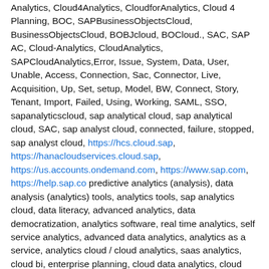Analytics, Cloud4Analytics, CloudforAnalytics, Cloud 4 Planning, BOC, SAPBusinessObjectsCloud, BusinessObjectsCloud, BOBJcloud, BOCloud., SAC, SAP AC, Cloud-Analytics, CloudAnalytics, SAPCloudAnalytics,Error, Issue, System, Data, User, Unable, Access, Connection, Sac, Connector, Live, Acquisition, Up, Set, setup, Model, BW, Connect, Story, Tenant, Import, Failed, Using, Working, SAML, SSO, sapanalyticscloud, sap analytical cloud, sap analytical cloud, SAC, sap analyst cloud, connected, failure, stopped, sap analyst cloud, https://hcs.cloud.sap, https://hanacloudservices.cloud.sap, https://us.accounts.ondemand.com, https://www.sap.com, https://help.sap.co predictive analytics (analysis), data analysis (analytics) tools, analytics tools, sap analytics cloud, data literacy, advanced analytics, data democratization, analytics software, real time analytics, self service analytics, advanced data analytics, analytics as a service, analytics cloud / cloud analytics, saas analytics, cloud bi, enterprise planning, cloud data analytics, cloud based analytics, analytics cloud platform, modern analytics, real time analysis, cloud analytics solution(s), what is sap analytics cloud, cloud analytics tools, analytics in the cloud, cloud analytics software , KBA , HAN-DB-EPM , SAP HANA Planning and Simulation Platform , LOD-ANA-PL , Planning , LOD-ANA-TAB , Table , LOD-ANA-PL-DE , Data Entry and Mass Data Entry , Problem